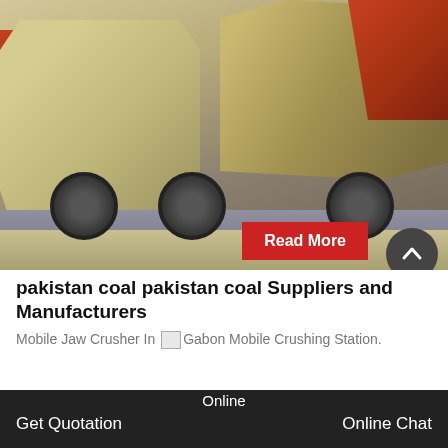[Figure (photo): Industrial mobile jaw crusher / mobile crushing station machinery in a warehouse or factory yard, showing large cream/beige colored crushing equipment on wheeled platforms with red crane arm visible in background]
Read More
pakistan coal pakistan coal Suppliers and Manufacturers
Mobile Jaw Crusher In Gabon Mobile Crushing Station.
Online
Get Quotation
Online Chat